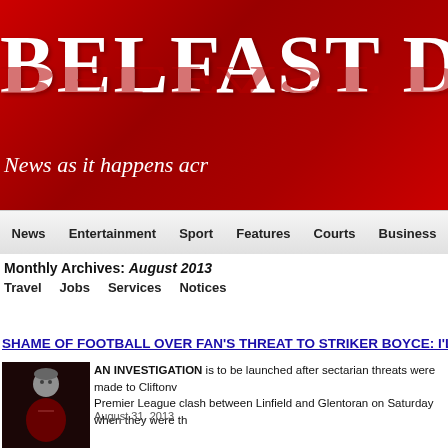[Figure (logo): Belfast Daily newspaper logo banner with red background, large white bold serif text 'BelfastDail' (cropped), reflection effect below, italic tagline 'News as it happens acr' (cropped)]
News  Entertainment  Sport  Features  Courts  Business
Monthly Archives: August 2013
Travel  Jobs  Services  Notices
SHAME OF FOOTBALL OVER FAN'S THREAT TO STRIKER BOYCE: I'L
[Figure (photo): Small thumbnail photo of a person in dark/red sports attire against dark background]
AN INVESTIGATION is to be launched after sectarian threats were made to Cliftonv Premier League clash between Linfield and Glentoran on Saturday when they were th
August 31, 2013